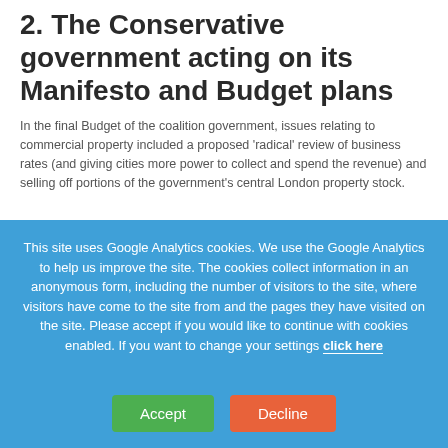2. The Conservative government acting on its Manifesto and Budget plans
In the final Budget of the coalition government, issues relating to commercial property included a proposed 'radical' review of business rates (and giving cities more power to collect and spend the revenue) and selling off portions of the government's central London property stock.
This site uses Google Analytics cookies. We use the Google Analytics to help us improve the site. The cookies collect information in an anonymous form, including the number of visitors to the site, where visitors have come to the site from and the pages they have visited on the site. Please accept if you would like to continue with cookies enabled. If you want to change your settings click here